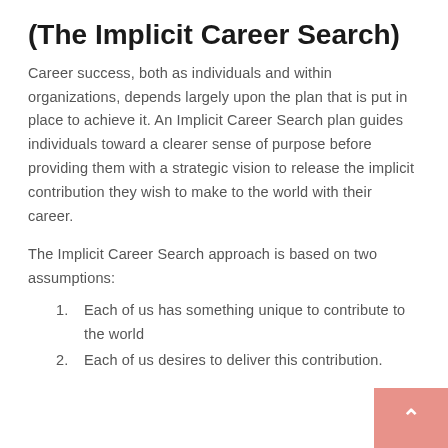(The Implicit Career Search)
Career success, both as individuals and within organizations, depends largely upon the plan that is put in place to achieve it. An Implicit Career Search plan guides individuals toward a clearer sense of purpose before providing them with a strategic vision to release the implicit contribution they wish to make to the world with their career.
The Implicit Career Search approach is based on two assumptions:
Each of us has something unique to contribute to the world
Each of us desires to deliver this contribution.